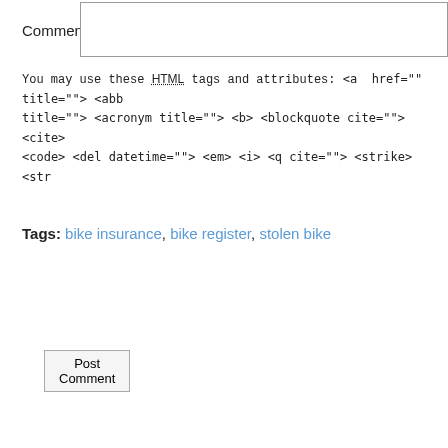Comment
You may use these HTML tags and attributes: <a href="" title=""> <abbr title=""> <acronym title=""> <b> <blockquote cite=""> <cite> <code> <del datetime=""> <em> <i> <q cite=""> <strike> <strong>
Post Comment
Tags: bike insurance, bike register, stolen bike